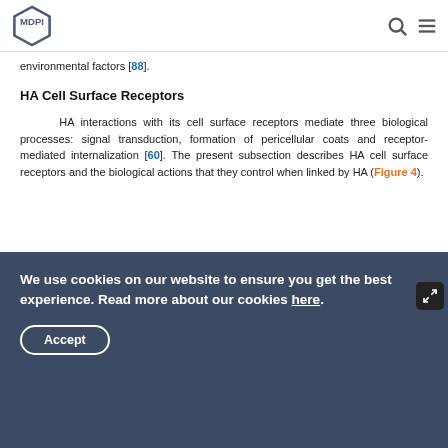MDPI [logo] [search icon] [menu icon]
environmental factors [88].
HA Cell Surface Receptors
HA interactions with its cell surface receptors mediate three biological processes: signal transduction, formation of pericellular coats and receptor-mediated internalization [60]. The present subsection describes HA cell surface receptors and the biological actions that they control when linked by HA (Figure 4).
[Figure (flowchart): Diagram titled 'HA CELL SURFACE RECEPTORS' showing colored boxes for different receptor types including CD44, RHAMM/HARE, HARE, LYVE1, and others.]
We use cookies on our website to ensure you get the best experience. Read more about our cookies here.
Accept